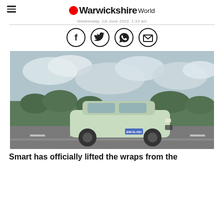Warwickshire World
Wednesday, 1st June 2022, 1:33 am
[Figure (other): Four social media sharing icons in circles: Facebook, Twitter, WhatsApp, Email]
[Figure (photo): A light green SUV (Smart #1) driving on a road with cloudy sky and trees in background]
Smart has officially lifted the wraps from the